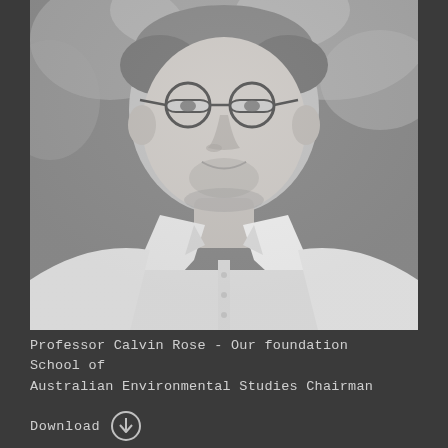[Figure (photo): Black and white photograph of Professor Calvin Rose, a middle-aged man wearing glasses and an open-collar white shirt, photographed outdoors with a blurred background of foliage.]
Professor Calvin Rose - Our foundation School of Australian Environmental Studies Chairman
Download